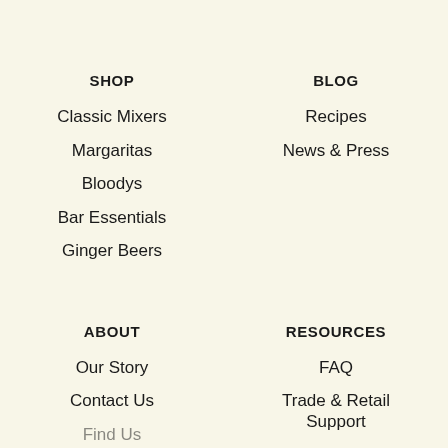SHOP
Classic Mixers
Margaritas
Bloodys
Bar Essentials
Ginger Beers
BLOG
Recipes
News & Press
ABOUT
Our Story
Contact Us
Find Us
RESOURCES
FAQ
Trade & Retail Support